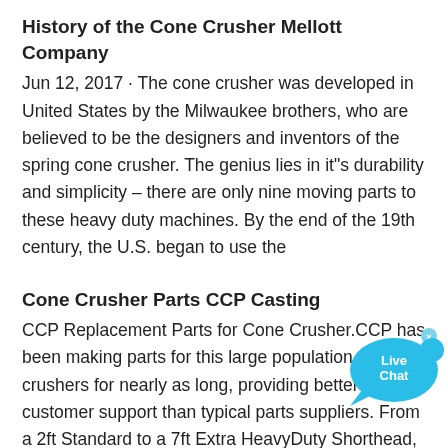History of the Cone Crusher Mellott Company
Jun 12, 2017 · The cone crusher was developed in United States by the Milwaukee brothers, who are believed to be the designers and inventors of the spring cone crusher. The genius lies in it"s durability and simplicity – there are only nine moving parts to these heavy duty machines. By the end of the 19th century, the U.S. began to use the
Cone Crusher Parts CCP Casting
[Figure (other): Live Chat button with blue speech bubble and close (x) icon]
CCP Replacement Parts for Cone Crusher.CCP has been making parts for this large population of crushers for nearly as long, providing better customer support than typical parts suppliers. From a 2ft Standard to a 7ft Extra HeavyDuty Shorthead, CCP
Simons 7 Ft Standard Concasseurs à Cône ptee2017
Simons concasseur à cône 5 1 2 parties Cataloque. Simons concasseur à cône 5 1 2 . Posts Related to 4.25 sh cone crusher for sale » 7 foot simmons cone crusher » 5 1 . standards ou courte tête concasseurs. Contacter le fournisseur simons 7 ft standard cone